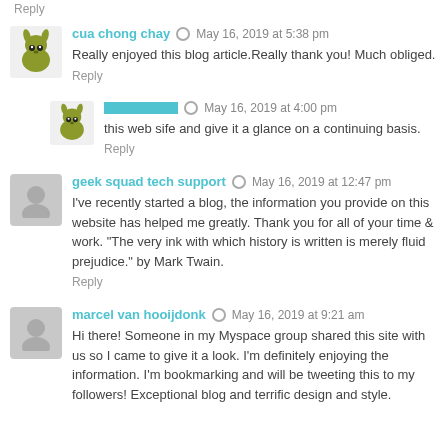Reply
cua chong chay · May 16, 2019 at 5:38 pm
Really enjoyed this blog article.Really thank you! Much obliged.
Reply
[corrupted text] · May 16, 2019 at 4:00 pm
this web sife and give it a glance on a continuing basis.
Reply
geek squad tech support · May 16, 2019 at 12:47 pm
I've recently started a blog, the information you provide on this website has helped me greatly. Thank you for all of your time & work. "The very ink with which history is written is merely fluid prejudice." by Mark Twain.
Reply
marcel van hooijdonk · May 16, 2019 at 9:21 am
Hi there! Someone in my Myspace group shared this site with us so I came to give it a look. I'm definitely enjoying the information. I'm bookmarking and will be tweeting this to my followers! Exceptional blog and terrific design and style.